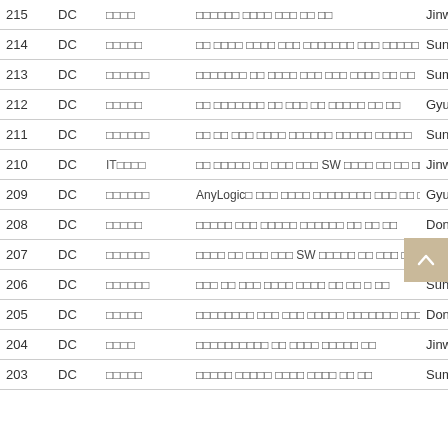| No. | Type | Category | Title | Author |
| --- | --- | --- | --- | --- |
| 215 | DC | □□□□ | □□□□□□ □□□□ □□□ □□ □□ | Jinwu S |
| 214 | DC | □□□□□ | □□ □□□□ □□□□ □□□ □□□□□□□ □□□ □□□□□ □□ | SungH |
| 213 | DC | □□□□□□ | □□□□□□□ □□ □□□□ □□□ □□□ □□□□ □□ □□ | Sumin |
| 212 | DC | □□□□□ | □□ □□□□□□□ □□ □□□ □□ □□□□□ □□ □□ | Gyusu |
| 211 | DC | □□□□□□ | □□ □□ □□□ □□□□ □□□□□□ □□□□□ □□□□□ | Sungjin |
| 210 | DC | IT□□□□ | □□ □□□□□ □□ □□□ □□□ SW □□□□ □□ □□ □□ | Jinwu S |
| 209 | DC | □□□□□□ | AnyLogic□ □□□ □□□□ □□□□□□□□ □□□ □□ □□ | Gyusu |
| 208 | DC | □□□□□ | □□□□□ □□□ □□□□□ □□□□□□ □□ □□ □□ | Donghy |
| 207 | DC | □□□□□□ | □□□□ □□ □□□ □□□ SW □□□□□ □□ □□□ □□ □□ | Jinwu S |
| 206 | DC | □□□□□□ | □□□ □□ □□□ □□□□ □□□□ □□ □□ □ □□ | Sungbe |
| 205 | DC | □□□□□ | □□□□□□□□ □□□ □□□ □□□□□ □□□□□□□ □□□□□ | Donghy |
| 204 | DC | □□□□ | □□□□□□□□□□ □□ □□□□ □□□□□ □□ | Jinwu S |
| 203 | DC | □□□□□ | □□□□□ □□□□□ □□□□ □□□□ □□ □□ | Sumin |